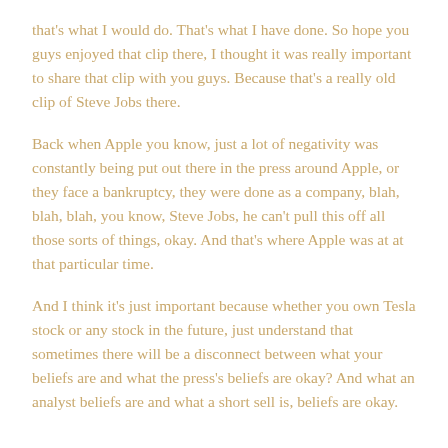that's what I would do. That's what I have done. So hope you guys enjoyed that clip there, I thought it was really important to share that clip with you guys. Because that's a really old clip of Steve Jobs there.
Back when Apple you know, just a lot of negativity was constantly being put out there in the press around Apple, or they face a bankruptcy, they were done as a company, blah, blah, blah, you know, Steve Jobs, he can't pull this off all those sorts of things, okay. And that's where Apple was at at that particular time.
And I think it's just important because whether you own Tesla stock or any stock in the future, just understand that sometimes there will be a disconnect between what your beliefs are and what the press's beliefs are okay? And what an analyst beliefs are and what a short sell is, beliefs are okay.